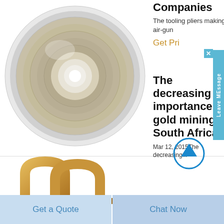[Figure (photo): Metallic cylindrical component viewed from top, showing concentric rings and a circular hollow center]
[Figure (photo): Gold-colored metallic arch/horseshoe shaped component, three-dimensional, sitting on white background]
Companies
The tooling pliers making air-gun
Get Pri
The decreasing importance of gold mining in South Africa
Mar 12, 2015The decreasing...
Get a Quote
Chat Now